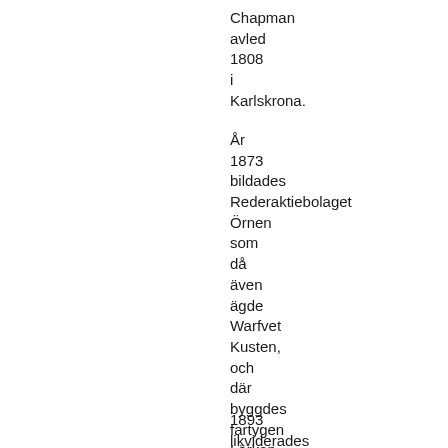Chapman avled 1808 i Karlskrona.
År 1873 bildades Rederaktiebolaget Örnen som då även ägde Warfvet Kusten, och där byggdes fartygen Lärkan, Storken, Tärnan och Örnen.
1893 likviderades både